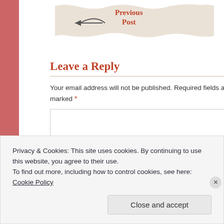[Figure (other): Previous Post navigation button with arrow and torn paper texture background]
Leave a Reply
Your email address will not be published. Required fields are marked *
[Figure (other): Comment text area input box]
Privacy & Cookies: This site uses cookies. By continuing to use this website, you agree to their use.
To find out more, including how to control cookies, see here: Cookie Policy
Close and accept